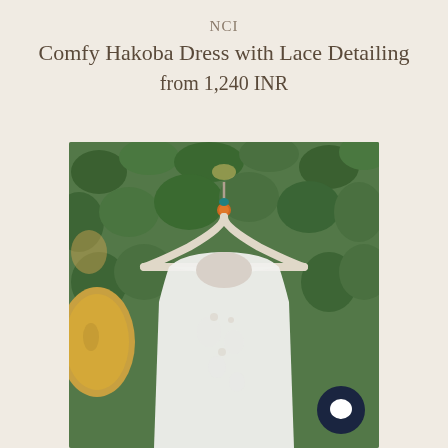NCI
Comfy Hakoba Dress with Lace Detailing
from 1,240 INR
[Figure (photo): White hakoba dress with lace detailing hanging on a wooden hanger against a green ivy-covered wall background. A chat bubble icon is visible in the bottom right corner of the photo.]